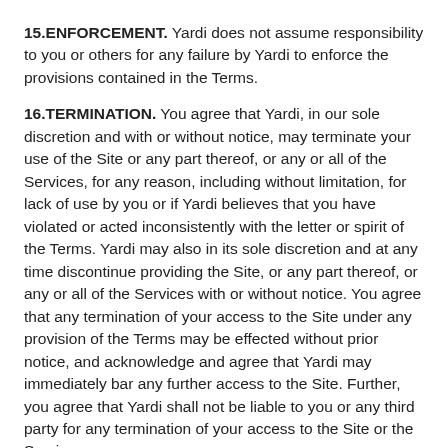15.ENFORCEMENT. Yardi does not assume responsibility to you or others for any failure by Yardi to enforce the provisions contained in the Terms.
16.TERMINATION. You agree that Yardi, in our sole discretion and with or without notice, may terminate your use of the Site or any part thereof, or any or all of the Services, for any reason, including without limitation, for lack of use by you or if Yardi believes that you have violated or acted inconsistently with the letter or spirit of the Terms. Yardi may also in its sole discretion and at any time discontinue providing the Site, or any part thereof, or any or all of the Services with or without notice. You agree that any termination of your access to the Site under any provision of the Terms may be effected without prior notice, and acknowledge and agree that Yardi may immediately bar any further access to the Site. Further, you agree that Yardi shall not be liable to you or any third party for any termination of your access to the Site or the Services.
17.AUTHORITY. You hereby represent and warrant to Yardi that: (a) you have all the requisite power and authority, corporate or otherwise, to enter into the binding contract created by these Terms, conduct yourself and your business and to execute,